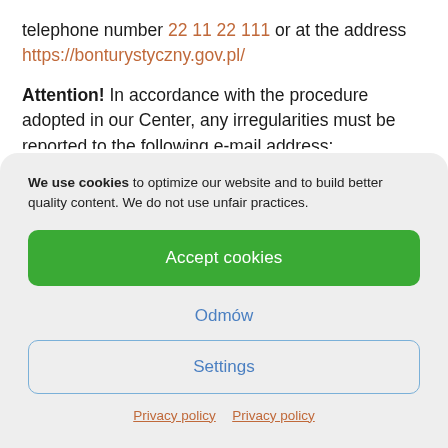telephone number 22 11 22 111 or at the address https://bonturystyczny.gov.pl/
Attention! In accordance with the procedure adopted in our Center, any irregularities must be reported to the following e-mail address: niezidlewosci@bonturystyczny.gov.pl
We use cookies to optimize our website and to build better quality content. We do not use unfair practices.
Accept cookies
Odmów
Settings
Privacy policy  Privacy policy